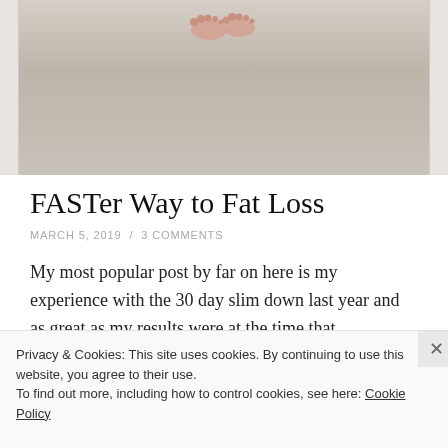[Figure (photo): Photo of feet standing on a light grey carpet/rug, viewed from above. White decorative frame border visible on left and right sides.]
FASTer Way to Fat Loss
MARCH 5, 2019 / 3 COMMENTS
My most popular post by far on here is my experience with the 30 day slim down last year and as great as my results were at the time that
Privacy & Cookies: This site uses cookies. By continuing to use this website, you agree to their use.
To find out more, including how to control cookies, see here: Cookie Policy
Close and accept